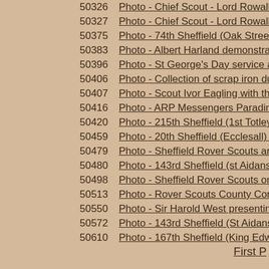50326  Photo - Chief Scout - Lord Rowalla
50327  Photo - Chief Scout - Lord Rowalla
50375  Photo - 74th Sheffield (Oak Street)
50383  Photo - Albert Harland demonstrat
50396  Photo - St George's Day service a
50406  Photo - Collection of scrap iron du
50407  Photo - Scout Ivor Eagling with the
50416  Photo - ARP Messengers Parading
50420  Photo - 215th Sheffield (1st Totley)
50459  Photo - 20th Sheffield (Ecclesall) S
50479  Photo - Sheffield Rover Scouts and
50480  Photo - 143rd Sheffield (st Aidans)
50498  Photo - Sheffield Rover Scouts on
50513  Photo - Rover Scouts County Conf
50550  Photo - Sir Harold West presenting
50572  Photo - 143rd Sheffield (St Aidans)
50610  Photo - 167th Sheffield (King Edwa
First P